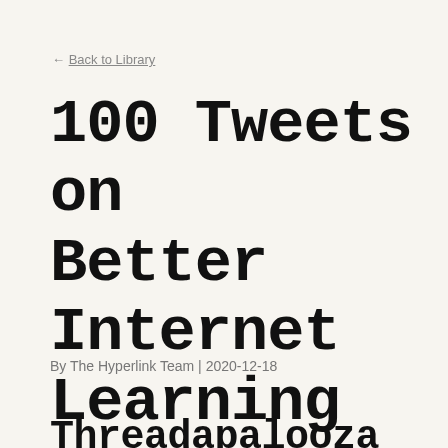← Back to Library
100 Tweets on Better Internet Learning
By The Hyperlink Team | 2020-12-18
Threadapalooza 2020